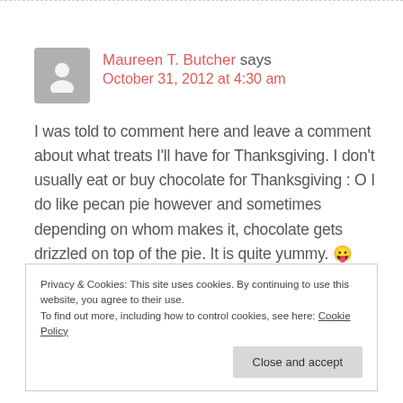Maureen T. Butcher says October 31, 2012 at 4:30 am
I was told to comment here and leave a comment about what treats I'll have for Thanksgiving. I don't usually eat or buy chocolate for Thanksgiving : O I do like pecan pie however and sometimes depending on whom makes it, chocolate gets drizzled on top of the pie. It is quite yummy. 😛
Privacy & Cookies: This site uses cookies. By continuing to use this website, you agree to their use. To find out more, including how to control cookies, see here: Cookie Policy
Close and accept